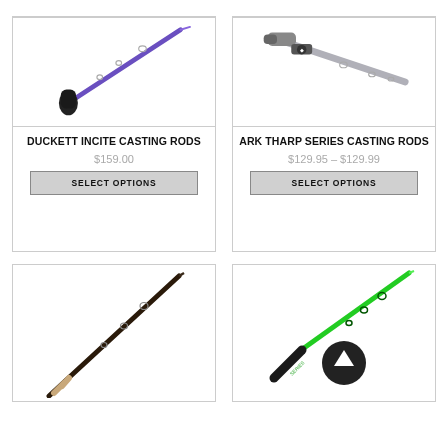[Figure (photo): Duckett Incite casting rod, purple/black gradient handle on white background]
DUCKETT INCITE CASTING RODS
$159.00
SELECT OPTIONS
[Figure (photo): ARK Tharp Series casting rod, silver/grey handle on white background]
ARK THARP SERIES CASTING RODS
$129.95 – $129.99
SELECT OPTIONS
[Figure (photo): Dark casting rod diagonal on white background (bottom left)]
[Figure (photo): Green casting rod with black reel seat, diagonal on white background (bottom right)]